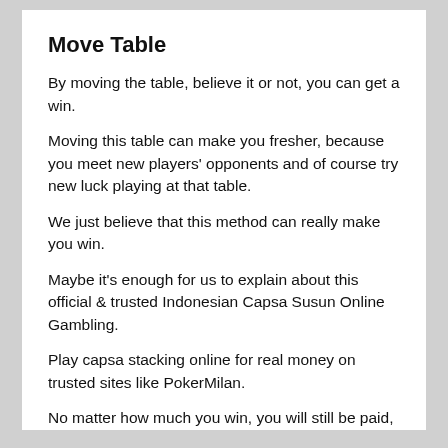Move Table
By moving the table, believe it or not, you can get a win.
Moving this table can make you fresher, because you meet new players' opponents and of course try new luck playing at that table.
We just believe that this method can really make you win.
Maybe it's enough for us to explain about this official & trusted Indonesian Capsa Susun Online Gambling.
Play capsa stacking online for real money on trusted sites like PokerMilan.
No matter how much you win, you will still be paid, so you don't have to worry about your money being taken away.
I guess that's it and good luck.